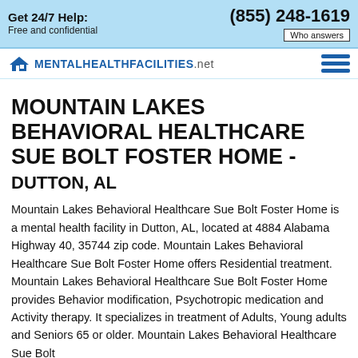Get 24/7 Help: Free and confidential | (855) 248-1619 | Who answers
[Figure (logo): MentalHealthFacilities.net logo with house icon and hamburger menu]
MOUNTAIN LAKES BEHAVIORAL HEALTHCARE SUE BOLT FOSTER HOME - DUTTON, AL
Mountain Lakes Behavioral Healthcare Sue Bolt Foster Home is a mental health facility in Dutton, AL, located at 4884 Alabama Highway 40, 35744 zip code. Mountain Lakes Behavioral Healthcare Sue Bolt Foster Home offers Residential treatment. Mountain Lakes Behavioral Healthcare Sue Bolt Foster Home provides Behavior modification, Psychotropic medication and Activity therapy. It specializes in treatment of Adults, Young adults and Seniors 65 or older. Mountain Lakes Behavioral Healthcare Sue Bolt